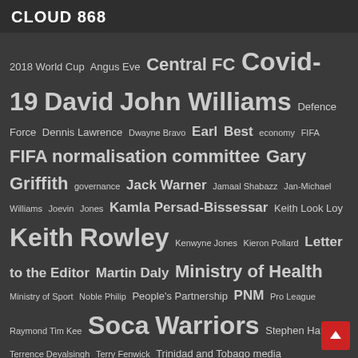CLOUD 868
2018 World Cup Angus Eve Central FC Covid-19 David John Williams Defence Force Dennis Lawrence Dwayne Bravo Earl Best economy FIFA FIFA normalisation committee Gary Griffith governance Jack Warner Jamaal Shabazz Jan-Michael Williams Joevin Jones Kamla Persad-Bissessar Keith Look Loy Keith Rowley Kenwyne Jones Kieron Pollard Letter to the Editor Martin Daly Ministry of Health Ministry of Sport Noble Philip People's Partnership PNM Pro League Raymond Tim Kee Soca Warriors Stephen Hart Terrence Deyalsingh Terry Fenwick Trinidad and Tobago media TTFA TTPS TTPS UNC W Connection West Indies cricket William Wallace Women Soca Warriors
RECENT COMMENTS
Louis W. Williams on Orin: Time to leave Port of Spain—the case for decentralisation or flexi-schedules